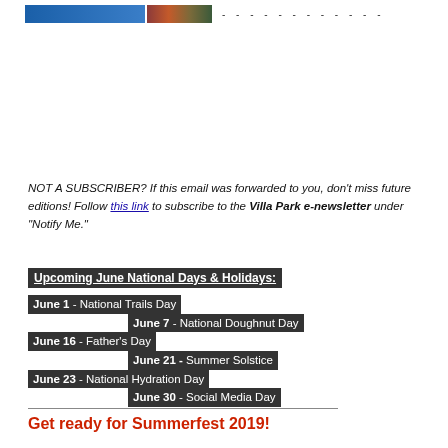[Figure (illustration): Page header with blue bar, photo strip, and dashed line]
NOT A SUBSCRIBER? If this email was forwarded to you, don't miss future editions! Follow this link to subscribe to the Villa Park e-newsletter under "Notify Me."
Upcoming June National Days & Holidays:
June 1 - National Trails Day
June 7 - National Doughnut Day
June 16 - Father's Day
June 21 - Summer Solstice
June 23 - National Hydration Day
June 30 - Social Media Day
Get ready for Summerfest 2019!